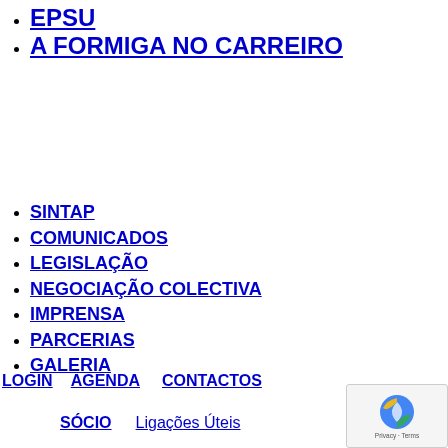EPSU
A FORMIGA NO CARREIRO
SINTAP
COMUNICADOS
LEGISLAÇÃO
NEGOCIAÇÃO COLECTIVA
IMPRENSA
PARCERIAS
GALERIA
LOGIN   AGENDA   CONTACTOS   SÓCIO   Ligações Úteis